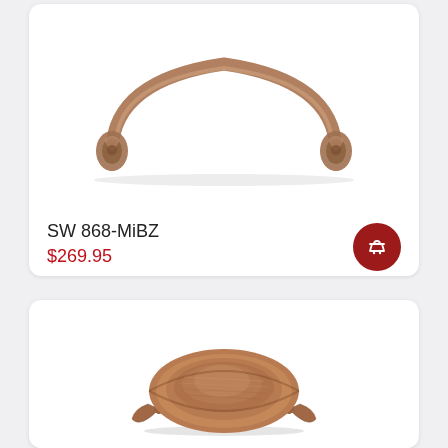[Figure (photo): Decorative bar pull hardware in antiqued bronze/miBZ finish with ornate leaf/acorn end caps, arched profile]
SW 868-MiBZ
$269.95
[Figure (photo): Cup pull / bin pull hardware in brushed copper/antique bronze finish with curved shell shape and decorative side wings]